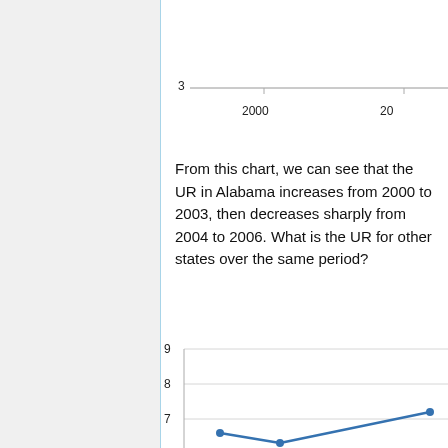[Figure (continuous-plot): Partial line chart showing top portion — y-axis label '3' visible, x-axis labels '2000' and partial '20' visible. Blue line chart partially cut off at top of page.]
From this chart, we can see that the UR in Alabama increases from 2000 to 2003, then decreases sharply from 2004 to 2006. What is the UR for other states over the same period?
[Figure (continuous-plot): Partial line chart showing bottom portion — y-axis labels 7, 8, 9 visible. Blue line with data points visible, starting around 6.6 at 2000, dipping to ~6.3, then rising sharply to ~7.2 at right edge.]